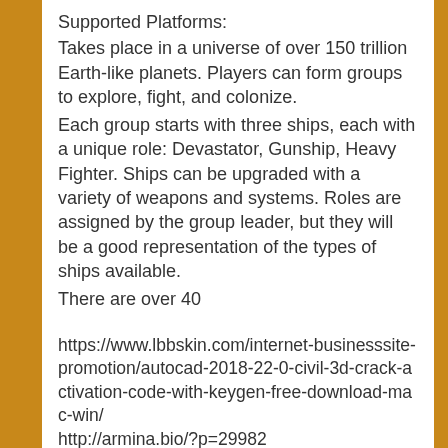Supported Platforms:
Takes place in a universe of over 150 trillion Earth-like planets. Players can form groups to explore, fight, and colonize.
Each group starts with three ships, each with a unique role: Devastator, Gunship, Heavy Fighter. Ships can be upgraded with a variety of weapons and systems. Roles are assigned by the group leader, but they will be a good representation of the types of ships available.
There are over 40
https://www.lbbskin.com/internet-businesssite-promotion/autocad-2018-22-0-civil-3d-crack-activation-code-with-keygen-free-download-mac-win/
http://armina.bio/?p=29982
https://urmiabook.ir/autocad-20-0-activator-free-